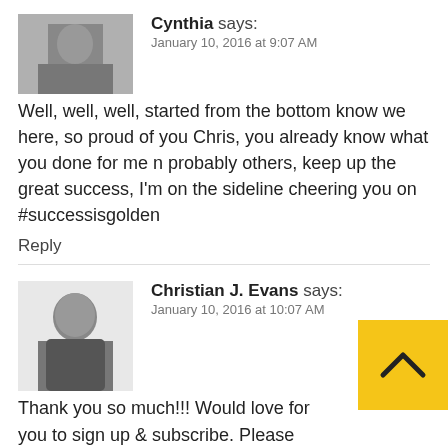Cynthia says:
January 10, 2016 at 9:07 AM
Well, well, well, started from the bottom know we here, so proud of you Chris, you already know what you done for me n probably others, keep up the great success, I'm on the sideline cheering you on #successisgolden
Reply
Christian J. Evans says:
January 10, 2016 at 10:07 AM
Thank you so much!!! Would love for you to sign up & subscribe. Please share this post with your friends & family. I want to get this story to as many people as possible. Hopefully it can inspire someone who needs a little motivation to get started on their weight loss journey.
Reply